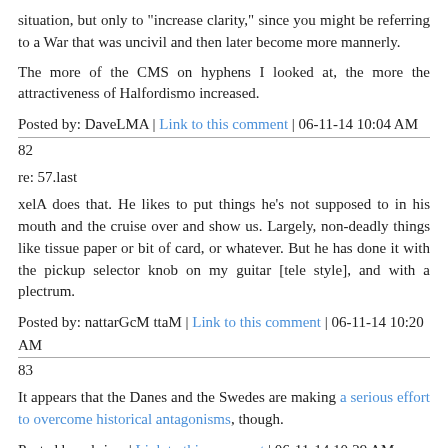situation, but only to "increase clarity," since you might be referring to a War that was uncivil and then later become more mannerly.
The more of the CMS on hyphens I looked at, the more the attractiveness of Halfordismo increased.
Posted by: DaveLMA | Link to this comment | 06-11-14 10:04 AM
82
re: 57.last
xelA does that. He likes to put things he's not supposed to in his mouth and the cruise over and show us. Largely, non-deadly things like tissue paper or bit of card, or whatever. But he has done it with the pickup selector knob on my guitar [tele style], and with a plectrum.
Posted by: nattarGcM ttaM | Link to this comment | 06-11-14 10:20 AM
83
It appears that the Danes and the Swedes are making a serious effort to overcome historical antagonisms, though.
Posted by: chris y | Link to this comment | 06-11-14 10:29 AM
84